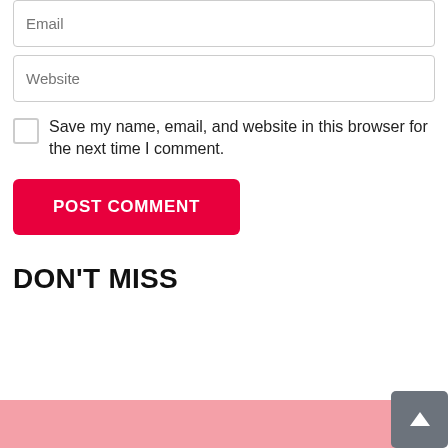Website
Save my name, email, and website in this browser for the next time I comment.
POST COMMENT
DON'T MISS
[Figure (photo): Pink background image partially visible at the bottom of the page with dark tree silhouette]